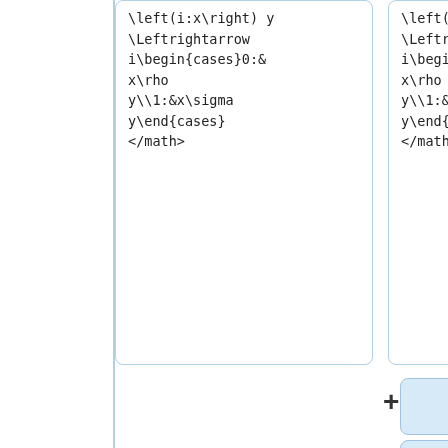\left(i:x\right) y \Leftrightarrow i\begin{cases}0:& x\rho y\\1:&x\sigma y\end{cases} </math>
\left(i:x\right) y \Leftrightarrow i\begin{cases}0:& x\rho y\\1:&x\sigma y\end{cases} </math>
The picture illustrating <hask>*** </hask> in [http://en.wikibooks.org/wiki/Haskell/Understanding_arrows#.2A.2A.2A Haskell/Understanding arrows] article of Wikibooks